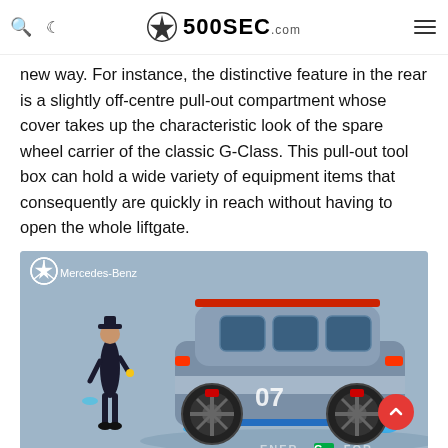500SEC.com
new way. For instance, the distinctive feature in the rear is a slightly off-centre pull-out compartment whose cover takes up the characteristic look of the spare wheel carrier of the classic G-Class. This pull-out tool box can hold a wide variety of equipment items that consequently are quickly in reach without having to open the whole liftgate.
[Figure (illustration): Mercedes-Benz Ener-G-Force concept vehicle design sketch showing a futuristic SUV with a character figure standing beside it. The vehicle has blue and silver coloring with red accents, large off-road wheels, and the number 07 on the door. Text at bottom reads ENER-G-FOR. Mercedes-Benz logo in top left.]
Bursting with energy
The Ener-G-Force stores renewable energy in tanks on the roof.